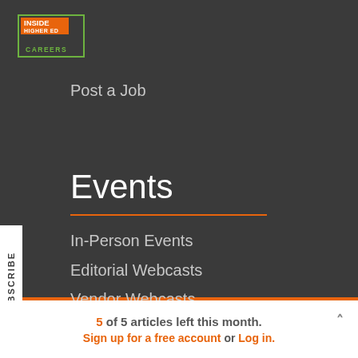[Figure (logo): Inside Higher Ed Careers logo — green border rectangle, orange background with INSIDE HIGHER ED text, green CAREERS label]
Post a Job
Events
In-Person Events
Editorial Webcasts
Vendor Webcasts
5 of 5 articles left this month. Sign up for a free account or Log in.